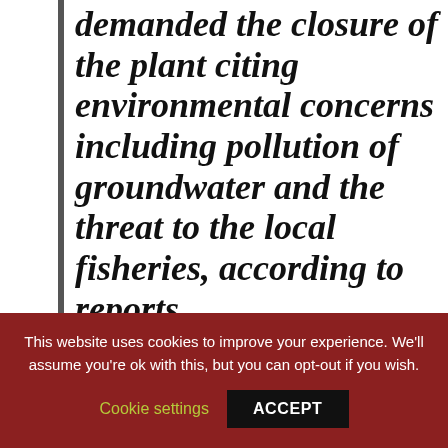demanded the closure of the plant citing environmental concerns including pollution of groundwater and the threat to the local fisheries, according to reports. On the same day, Vedanta reported a 33 percent rise
This website uses cookies to improve your experience. We'll assume you're ok with this, but you can opt-out if you wish. Cookie settings ACCEPT